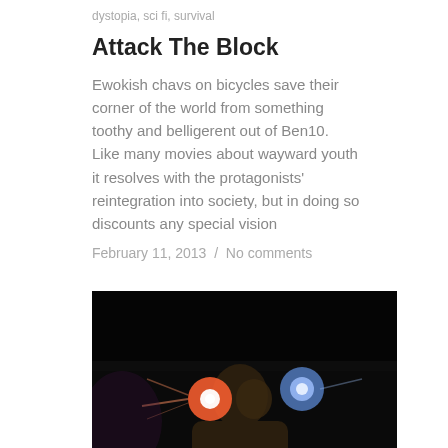dystopia, sci fi, survival
Attack The Block
Ewokish chavs on bicycles save their corner of the world from something toothy and belligerent out of Ben10.  Like many movies about wayward youth it resolves with the protagonists' reintegration into society, but in doing so discounts any special vision
February 11, 2013  /  No comments
[Figure (photo): Dark cinematic still of a person with bright lights near their face against a dark background]
alienation, angst, dystopia, horror, vertigo
Wake In Fright (1971)